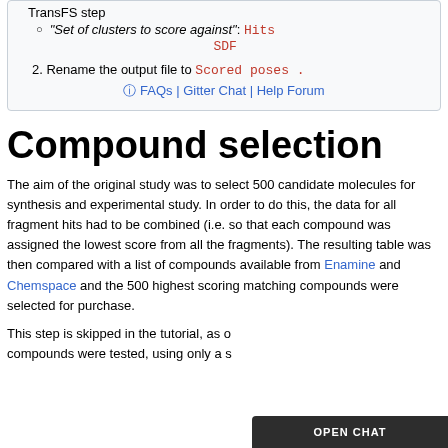TransFS step
"Set of clusters to score against": Hits SDF
2. Rename the output file to Scored poses .
? FAQs | Gitter Chat | Help Forum
Compound selection
The aim of the original study was to select 500 candidate molecules for synthesis and experimental study. In order to do this, the data for all fragment hits had to be combined (i.e. so that each compound was assigned the lowest score from all the fragments). The resulting table was then compared with a list of compounds available from Enamine and Chemspace and the 500 highest scoring matching compounds were selected for purchase.
This step is skipped in the tutorial, as o... compounds were tested, using only a s...